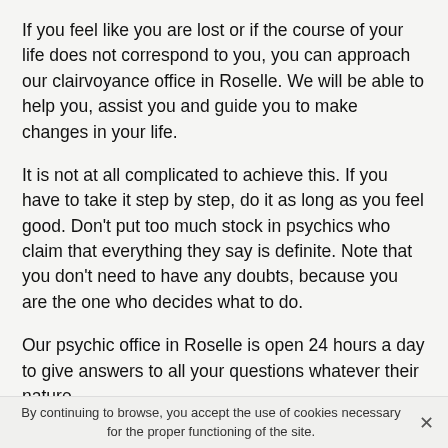If you feel like you are lost or if the course of your life does not correspond to you, you can approach our clairvoyance office in Roselle. We will be able to help you, assist you and guide you to make changes in your life.
It is not at all complicated to achieve this. If you have to take it step by step, do it as long as you feel good. Don't put too much stock in psychics who claim that everything they say is definite. Note that you don't need to have any doubts, because you are the one who decides what to do.
Our psychic office in Roselle is open 24 hours a day to give answers to all your questions whatever their nature.
If you want to find a balance and to take again your life in hand, then contact us to benefit from your consultation of clairvovance. It will be an opportunitv for vou to learn more
By continuing to browse, you accept the use of cookies necessary for the proper functioning of the site.